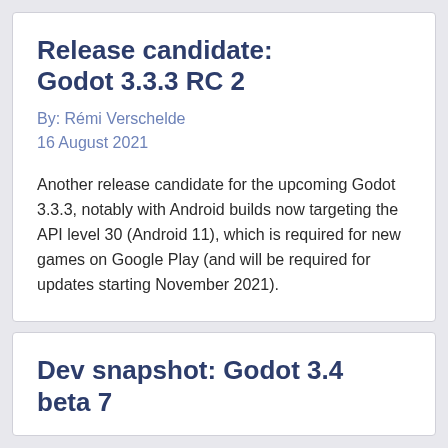Release candidate: Godot 3.3.3 RC 2
By: Rémi Verschelde
16 August 2021
Another release candidate for the upcoming Godot 3.3.3, notably with Android builds now targeting the API level 30 (Android 11), which is required for new games on Google Play (and will be required for updates starting November 2021).
Dev snapshot: Godot 3.4 beta 7